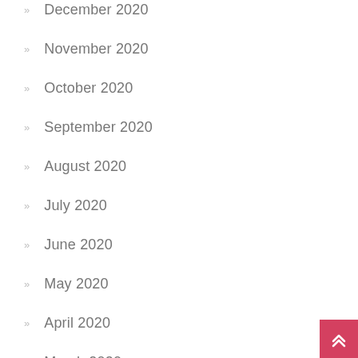December 2020
November 2020
October 2020
September 2020
August 2020
July 2020
June 2020
May 2020
April 2020
March 2020